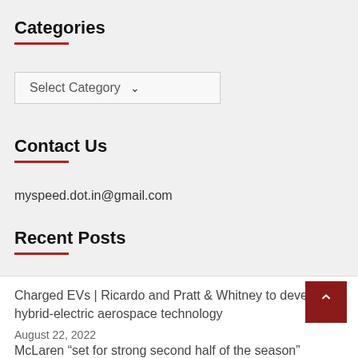Categories
Select Category
Contact Us
myspeed.dot.in@gmail.com
Recent Posts
Charged EVs | Ricardo and Pratt & Whitney to develop hybrid-electric aerospace technology
August 22, 2022
McLaren “set for strong second half of the season”